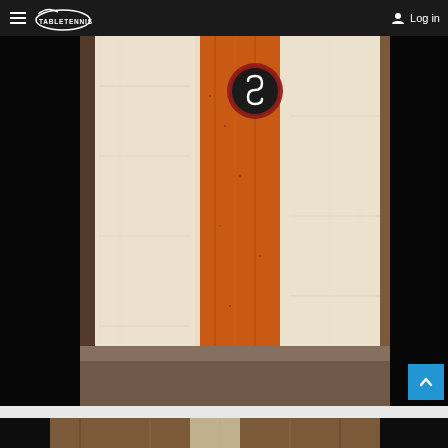TableTennisDaily — Log in
[Figure (photo): Close-up photograph of a table tennis paddle handle showing laminated wood construction with orange/brown central stripe flanked by cream/white wood layers and dark walnut edges, with a circular Stiga-style logo visible at the top, photographed on a dark carbon-fiber textured surface.]
[Figure (photo): Partial close-up photograph of another table tennis paddle handle showing walnut wood grain with lighter wood inlay, photographed on a dark surface.]